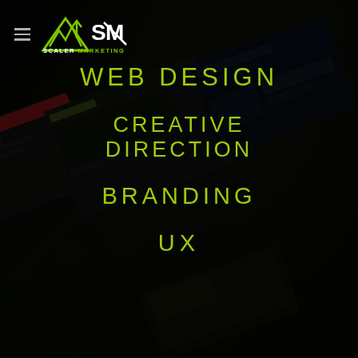[Figure (screenshot): Dark background showing multiple website mockup screenshots arranged at an angle, partially visible, heavily darkened with overlay. Websites appear to include construction, nature, and other business sites.]
SCALER MARKETING (logo with hamburger menu icon)
WEB DESIGN
CREATIVE DIRECTION
BRANDING
UX